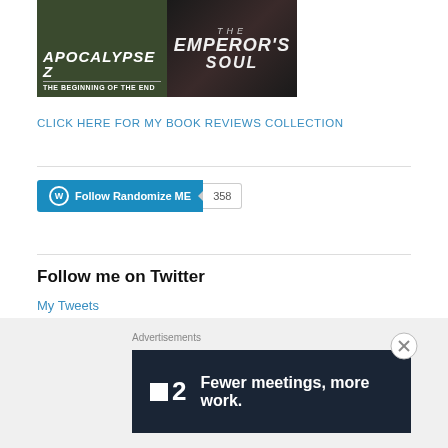[Figure (photo): Two book covers: 'Apocalypse Z: The Beginning of the End' (dark green background) and 'The Emperor's Soul' (dark background with woman's face)]
CLICK HERE FOR MY BOOK REVIEWS COLLECTION
[Figure (other): WordPress Follow button for 'Randomize ME' with follower count 358]
Follow me on Twitter
My Tweets
Advertisements
[Figure (other): Advertisement banner: P2 logo — Fewer meetings, more work.]